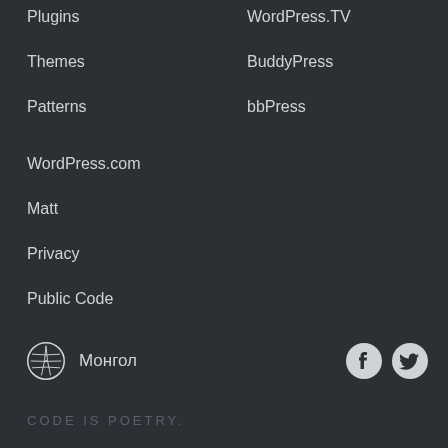Plugins
WordPress.TV
Themes
BuddyPress
Patterns
bbPress
WordPress.com
Matt
Privacy
Public Code
Монгол  CODE IS POETRY.